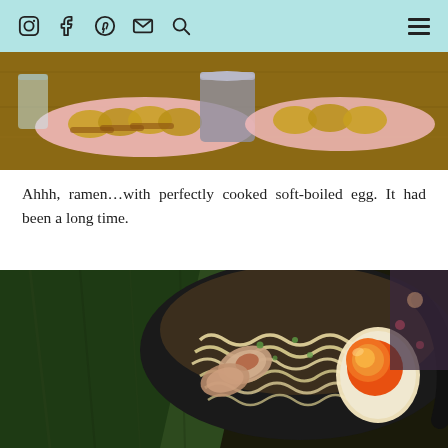Social media icons and navigation menu
[Figure (photo): Overhead view of pan-fried gyoza dumplings on pink plates with a metal cup on a wooden table]
Ahhh, ramen…with perfectly cooked soft-boiled egg. It had been a long time.
[Figure (photo): Close-up of a ramen bowl with thick noodles, sliced chashu pork, a soft-boiled egg cut in half showing jammy orange yolk, green onions, and large sheets of nori seaweed in a black bowl]